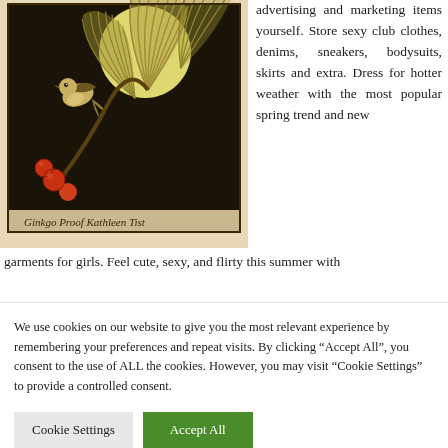[Figure (illustration): Japanese woodblock print style illustration showing a bird (possibly a tit or sparrow) among ginkgo leaves and red berries against a dark background with a pale yellow moon. Signed in cursive script at the bottom: 'Ginkgo Proof Kathleen Tist']
advertising and marketing items yourself. Store sexy club clothes, denims, sneakers, bodysuits, skirts and extra. Dress for hotter weather with the most popular spring trend and new garments for girls. Feel cute, sexy, and flirty this summer with
We use cookies on our website to give you the most relevant experience by remembering your preferences and repeat visits. By clicking “Accept All”, you consent to the use of ALL the cookies. However, you may visit "Cookie Settings" to provide a controlled consent.
Cookie Settings
Accept All